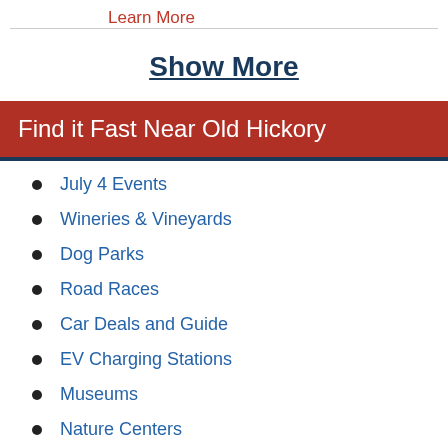Learn More
Show More
Find it Fast Near Old Hickory
July 4 Events
Wineries & Vineyards
Dog Parks
Road Races
Car Deals and Guide
EV Charging Stations
Museums
Nature Centers